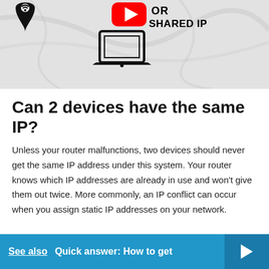[Figure (illustration): Screenshot thumbnail showing a location pin icon, YouTube play button icon, text 'OR SHARED IP', and a laptop icon on a marble background]
Can 2 devices have the same IP?
Unless your router malfunctions, two devices should never get the same IP address under this system. Your router knows which IP addresses are already in use and won't give them out twice. More commonly, an IP conflict can occur when you assign static IP addresses on your network.
See also  Quick answer: How to get